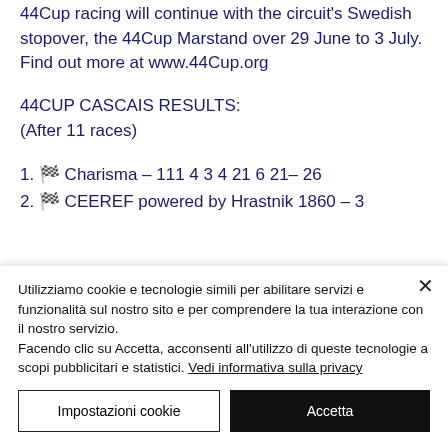44Cup racing will continue with the circuit's Swedish stopover, the 44Cup Marstand over 29 June to 3 July. Find out more at www.44Cup.org
44CUP CASCAIS RESULTS:
(After 11 races)
1. 🏁 Charisma – 111 4 3 4 21 6 21– 26
2. 🏁 CEEREF powered by Hrastnik 1860 – 3
Utilizziamo cookie e tecnologie simili per abilitare servizi e funzionalità sul nostro sito e per comprendere la tua interazione con il nostro servizio. Facendo clic su Accetta, acconsenti all'utilizzo di queste tecnologie a scopi pubblicitari e statistici. Vedi informativa sulla privacy